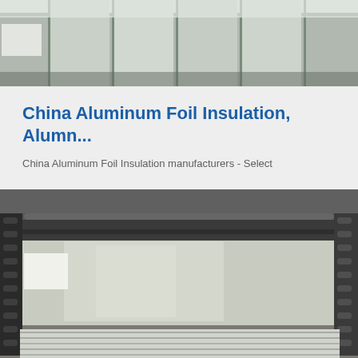[Figure (photo): Top-down view of rolls of aluminum foil insulation, silvery-white rolls on a dark industrial surface]
China Aluminum Foil Insulation, Alumi...
China Aluminum Foil Insulation manufacturers - Select
[Figure (photo): Industrial manufacturing facility showing aluminum foil sheets being processed on machinery with rollers and stacked sheets at the bottom]